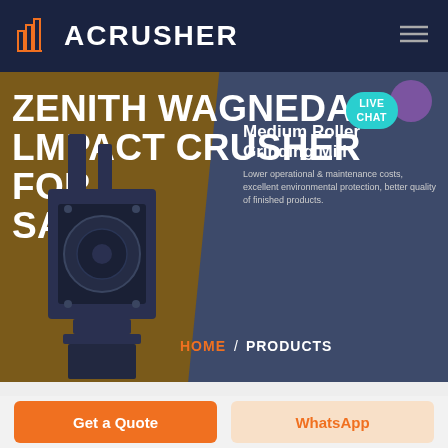ACRUSHER
ZENITH WAGNEDAR LMPACT CRUSHER FOR SALE
Medium Roller Grinding Mill
Lower operational & maintenance costs, excellent environmental protection, better quality of finished products.
HOME / PRODUCTS
[Figure (screenshot): Screenshot of ACrusher website showing Zenith Wagnedar impact crusher for sale page with orange and dark blue theme, crusher machine image, and navigation elements]
Get a Quote
WhatsApp